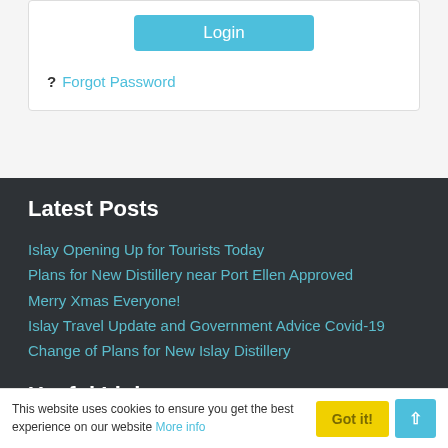[Figure (screenshot): Login button (cyan/teal colored button labeled 'Login')]
? Forgot Password
Latest Posts
Islay Opening Up for Tourists Today
Plans for New Distillery near Port Ellen Approved
Merry Xmas Everyone!
Islay Travel Update and Government Advice Covid-19
Change of Plans for New Islay Distillery
Useful Links
This website uses cookies to ensure you get the best experience on our website More info